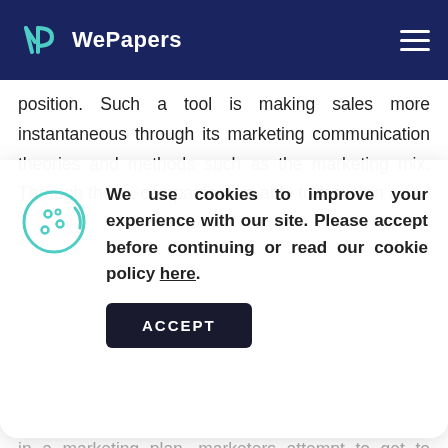WePapers
position. Such a tool is making sales more instantaneous through its marketing communication theories and methods such as the marketing mix. Through these, companies are able to focus on a
[Figure (infographic): Cookie consent popup with cookie icon, message about cookies, and ACCEPT button]
in a marketing plan, marketers attempt to get to know the market up close through segmentation. When they get the idea of whom they would be dealing, they would lay out procedures intended to catch the